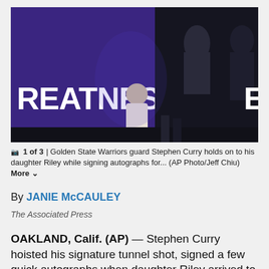[Figure (photo): Golden State Warriors arena photo showing a banner reading 'REATNESS AWA' (partial text), with people in the background and a child in a light-colored hoodie visible in the foreground center.]
1 of 3 | Golden State Warriors guard Stephen Curry holds on to his daughter Riley while signing autographs for... (AP Photo/Jeff Chiu) More
By JANIE McCAULEY
The Associated Press
OAKLAND, Calif. (AP) — Stephen Curry hoisted his signature tunnel shot, signed a few quick autographs when daughter Riley arrived to greet him and...